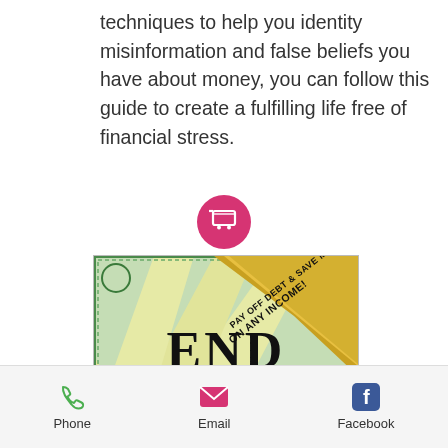techniques to help you identity misinformation and false beliefs you have about money, you can follow this guide to create a fulfilling life free of financial stress.
[Figure (illustration): Pink circular shopping cart button icon]
[Figure (photo): Book cover for 'End Financial Stress' with a gold diagonal ribbon reading 'PAY OFF DEBT & SAVE MONEY ON ANY INCOME!' on a green currency-style background with rays]
Phone  Email  Facebook